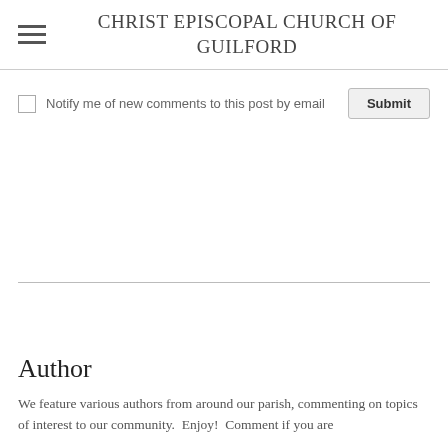CHRIST EPISCOPAL CHURCH OF GUILFORD
Notify me of new comments to this post by email
Author
We feature various authors from around our parish, commenting on topics of interest to our community.  Enjoy!  Comment if you are